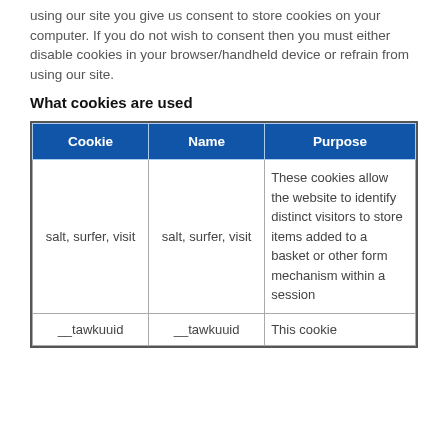using our site you give us consent to store cookies on your computer. If you do not wish to consent then you must either disable cookies in your browser/handheld device or refrain from using our site.
What cookies are used
| Cookie | Name | Purpose |
| --- | --- | --- |
| salt, surfer, visit | salt, surfer, visit | These cookies allow the website to identify distinct visitors to store items added to a basket or other form mechanism within a session |
| __tawkuuid | __tawkuuid | This cookie |